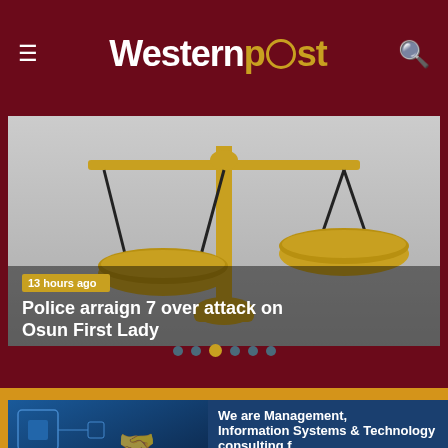Western Post
[Figure (screenshot): Gold scales of justice against light background with overlay text '13 hours ago' and headline 'Police arraign 7 over attack on Osun First Lady']
[Figure (infographic): Slideshow navigation dots — 6 dots with third dot active/highlighted in gold]
[Figure (infographic): Advertisement banner: 'We are Management, Information Systems & Technology consulting firm providing cutting-edge services' with WhatsApp contact buttons]